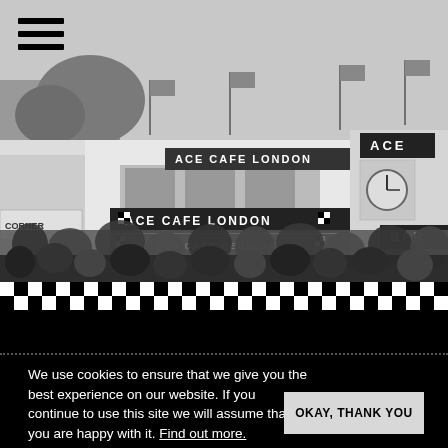[Figure (photo): Black and white photograph of Ace Cafe London exterior during a reunion event, showing crowds in front of the building with signage reading ACE CAFE LONDON and ACE CAFE REUNION, flags on the roof, clock tower, and BAR sign visible]
We use cookies to ensure that we give you the best experience on our website. If you continue to use this site we will assume that you are happy with it. Find out more.
OKAY, THANK YOU